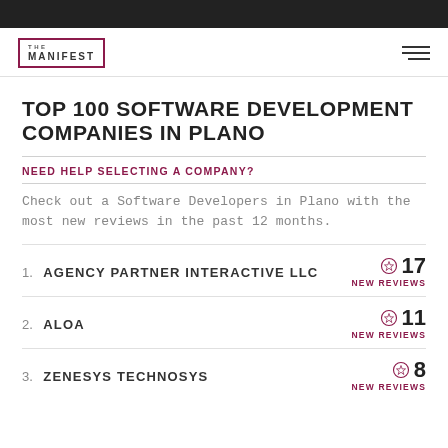THE MANIFEST
TOP 100 SOFTWARE DEVELOPMENT COMPANIES IN PLANO
NEED HELP SELECTING A COMPANY?
Check out a Software Developers in Plano with the most new reviews in the past 12 months.
1. AGENCY PARTNER INTERACTIVE LLC — 17 NEW REVIEWS
2. ALOA — 11 NEW REVIEWS
3. ZENESYS TECHNOSYS — 8 NEW REVIEWS